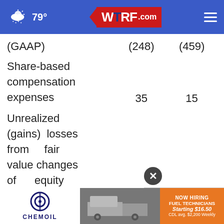79° WTRF.com
|  |  |  |
| --- | --- | --- |
| (GAAP) | (248) | (459) |
| Share-based compensation expenses | 35 | 15 |
| Unrealized (gains) losses from fair value changes of equity securities | (238) | 7 |
| Adjus |  |  |